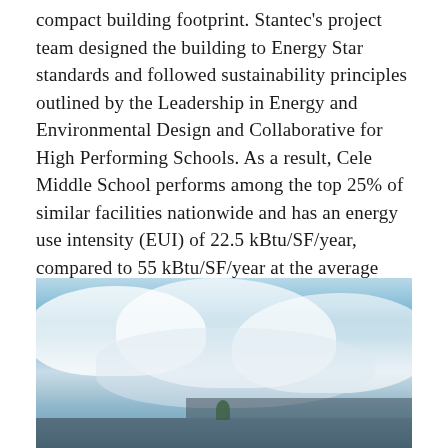compact building footprint. Stantec's project team designed the building to Energy Star standards and followed sustainability principles outlined by the Leadership in Energy and Environmental Design and Collaborative for High Performing Schools. As a result, Cele Middle School performs among the top 25% of similar facilities nationwide and has an energy use intensity (EUI) of 22.5 kBtu/SF/year, compared to 55 kBtu/SF/year at the average U.S. middle school. Learn more here.
[Figure (photo): Exterior photo of Cele Middle School building with dramatic cloudy blue sky above and building roofline visible at the bottom of the image]